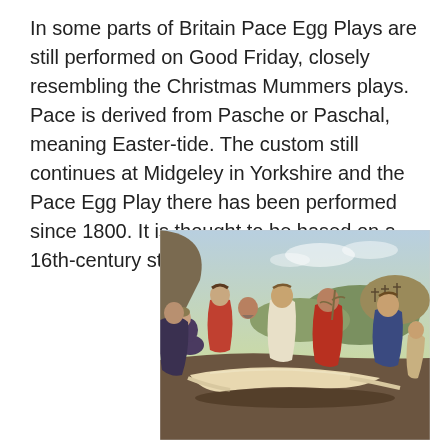In some parts of Britain Pace Egg Plays are still performed on Good Friday, closely resembling the Christmas Mummers plays. Pace is derived from Pasche or Paschal, meaning Easter-tide. The custom still continues at Midgeley in Yorkshire and the Pace Egg Play there has been performed since 1800. It is thought to be based on a 16th-century story,
[Figure (illustration): A Renaissance-style painting depicting multiple figures in a landscape scene. Several people are gathered around and carrying a limp, pale body (likely a deposition or entombment of Christ scene). The figures wear robes in red, blue, and earth tones. Rocky terrain and a hilly landscape with crosses visible in the distant background.]